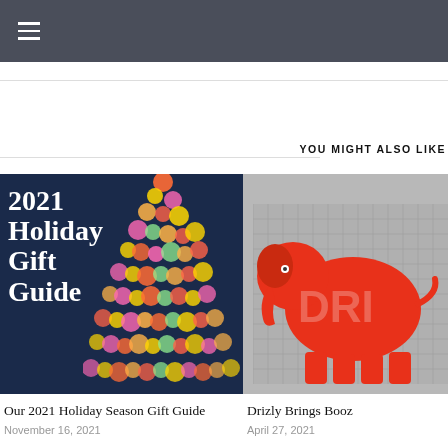Navigation bar with hamburger menu
YOU MIGHT ALSO LIKE
[Figure (photo): 2021 Holiday Gift Guide promotional image with Christmas tree bokeh lights on dark blue background]
Our 2021 Holiday Season Gift Guide
November 16, 2021
[Figure (photo): Drizly brand image showing red elephant logo on grey background]
Drizly Brings Booz
April 27, 2021